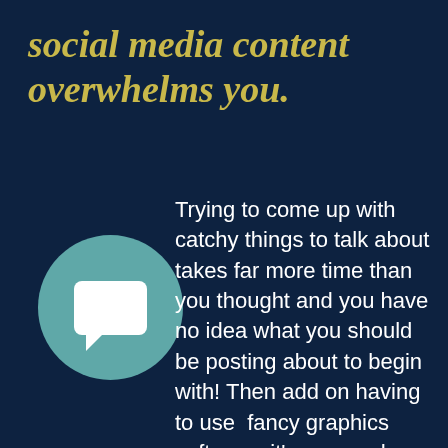social media content overwhelms you.
[Figure (illustration): Teal circle with a white speech/chat bubble icon in the center]
Trying to come up with catchy things to talk about takes far more time than you thought and you have no idea what you should be posting about to begin with! Then add on having to use  fancy graphics software; it's no wonder you are